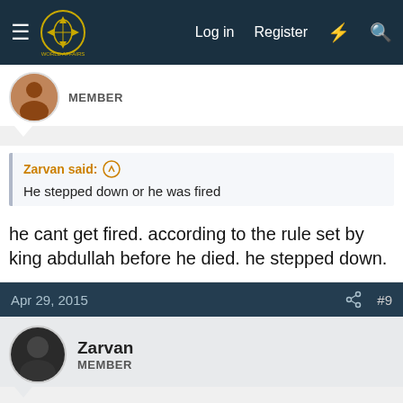Log in   Register
MEMBER
Zarvan said: ↑
He stepped down or he was fired
he cant get fired. according to the rule set by king abdullah before he died. he stepped down.
Apr 29, 2015   #9
Zarvan
MEMBER
Rakan.SA said: ↑
he cant get fired. according to the rule set by king abdullah before he died. he stepped down.